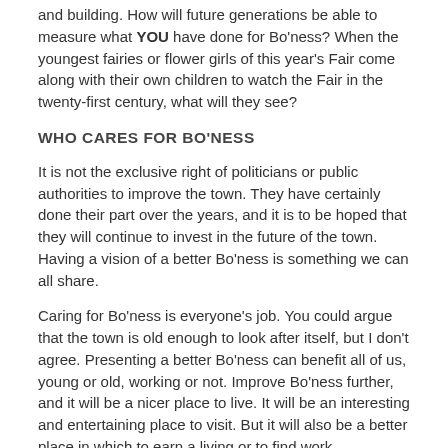and building. How will future generations be able to measure what YOU have done for Bo'ness? When the youngest fairies or flower girls of this year's Fair come along with their own children to watch the Fair in the twenty-first century, what will they see?
WHO CARES FOR BO'NESS
It is not the exclusive right of politicians or public authorities to improve the town. They have certainly done their part over the years, and it is to be hoped that they will continue to invest in the future of the town. Having a vision of a better Bo'ness is something we can all share.
Caring for Bo'ness is everyone's job. You could argue that the town is old enough to look after itself, but I don't agree. Presenting a better Bo'ness can benefit all of us, young or old, working or not. Improve Bo'ness further, and it will be a nicer place to live. It will be an interesting and entertaining place to visit. But it will also be a better place in which to earn a living or to find work.
If we can build on the pride and confidence which we can see all